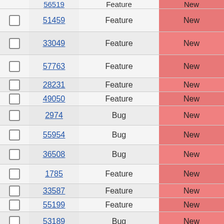|  | ID | Type | Status |
| --- | --- | --- | --- |
|  | 56519 | Feature | New |
|  | 51459 | Feature | New |
|  | 33049 | Feature | New |
|  | 57763 | Feature | New |
|  | 28231 | Feature | New |
|  | 49050 | Feature | New |
|  | 2974 | Bug | New |
|  | 55954 | Bug | New |
|  | 36508 | Bug | New |
|  | 1785 | Feature | New |
|  | 33587 | Feature | New |
|  | 55199 | Feature | New |
|  | 53189 | Bug | New |
|  | 59023 | Bug | New |
|  | 54446 | Bug | New |
|  | 42520 | Bug | New |